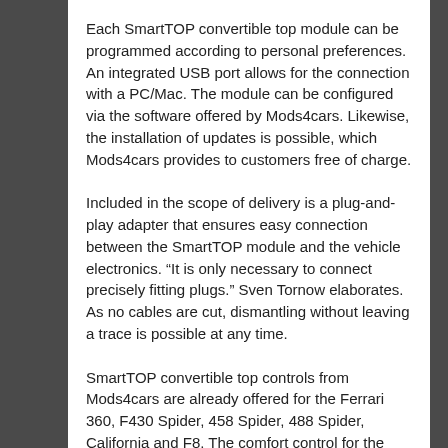Each SmartTOP convertible top module can be programmed according to personal preferences. An integrated USB port allows for the connection with a PC/Mac. The module can be configured via the software offered by Mods4cars. Likewise, the installation of updates is possible, which Mods4cars provides to customers free of charge.
Included in the scope of delivery is a plug-and-play adapter that ensures easy connection between the SmartTOP module and the vehicle electronics. “It is only necessary to connect precisely fitting plugs.” Sven Tornow elaborates. As no cables are cut, dismantling without leaving a trace is possible at any time.
SmartTOP convertible top controls from Mods4cars are already offered for the Ferrari 360, F430 Spider, 458 Spider, 488 Spider, California and F8. The comfort control for the Ferrari Portofino will be available for 369,00 Euro plus tax.